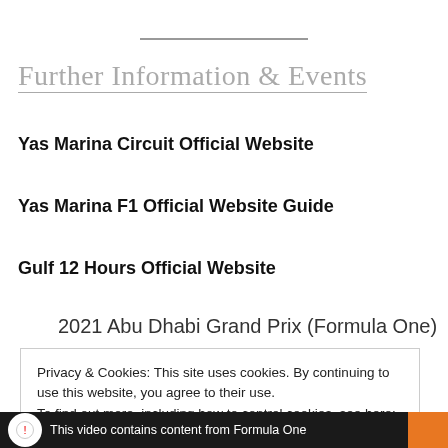Further Information & Events
Yas Marina Circuit Official Website
Yas Marina F1 Official Website Guide
Gulf 12 Hours Official Website
2021 Abu Dhabi Grand Prix (Formula One)
Privacy & Cookies: This site uses cookies. By continuing to use this website, you agree to their use. To find out more, including how to control cookies, see here: Cookie Policy
Close and accept
This video contains content from Formula One